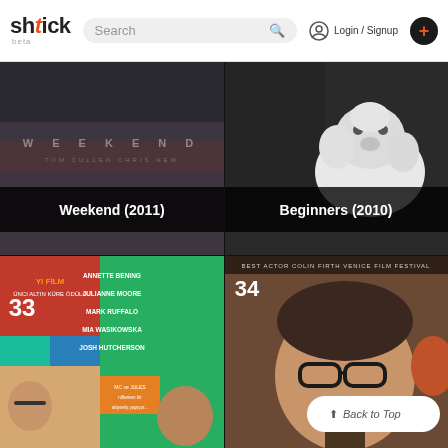shtick beta — Search — Login / Signup — +
[Figure (screenshot): Movie thumbnail for Weekend (2011) - dark cinematic poster with text]
Weekend (2011)
[Figure (screenshot): Movie thumbnail for Beginners (2010) - woman holding white fluffy dog]
Beginners (2010)
[Figure (screenshot): Movie thumbnail #33 - colorful collage poster with cast members and Turkish text]
[Figure (screenshot): Movie thumbnail #34 - Best Actor Colin Firth Venice Film Festival, man with glasses]
Back to Top